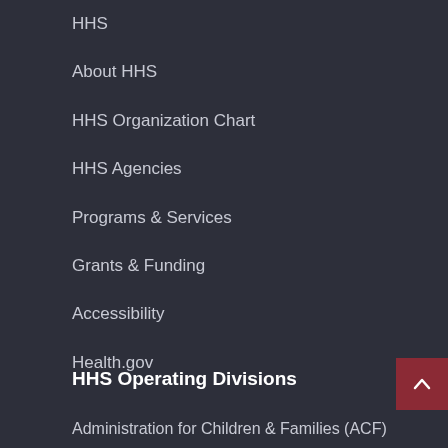HHS
About HHS
HHS Organization Chart
HHS Agencies
Programs & Services
Grants & Funding
Accessibility
Health.gov
HHS Operating Divisions
Administration for Children & Families (ACF)